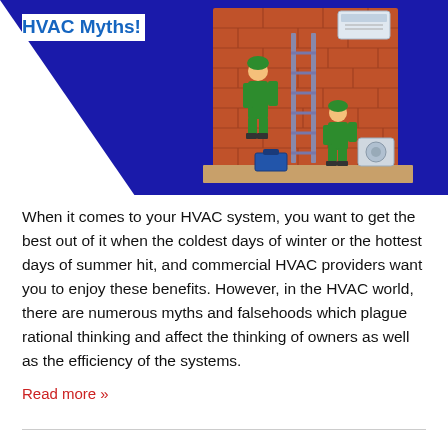HVAC Myths!
[Figure (illustration): Isometric illustration of two HVAC technicians in green uniforms installing an air conditioning unit on a brick wall, with a ladder, toolbox, and outdoor AC unit visible.]
When it comes to your HVAC system, you want to get the best out of it when the coldest days of winter or the hottest days of summer hit, and commercial HVAC providers want you to enjoy these benefits. However, in the HVAC world, there are numerous myths and falsehoods which plague rational thinking and affect the thinking of owners as well as the efficiency of the systems.
Read more »